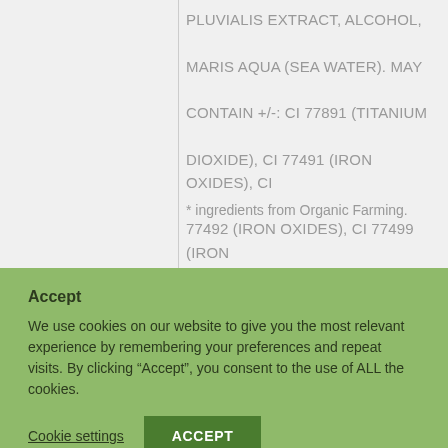PLUVIALIS EXTRACT, ALCOHOL, MARIS AQUA (SEA WATER). MAY CONTAIN +/-: CI 77891 (TITANIUM DIOXIDE), CI 77491 (IRON OXIDES), CI 77492 (IRON OXIDES), CI 77499 (IRON OXIDES), CI 77007 (ULTRAMARINES), CI 77742 (MANGANESE VIOLET). *
* ingredients from Organic Farming.
Accept
We use cookies on our website to give you the most relevant experience by remembering your preferences and repeat visits. By clicking “Accept”, you consent to the use of ALL the cookies.
Cookie settings   ACCEPT